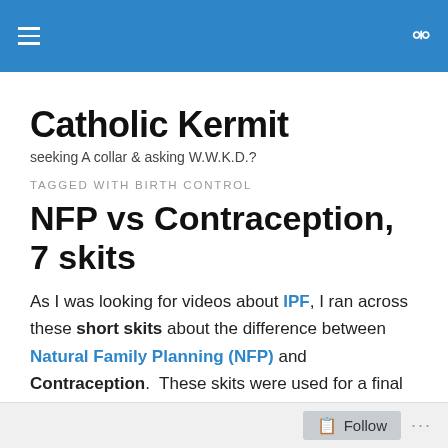Catholic Kermit — navigation header bar
Catholic Kermit
seeking A collar & asking W.W.K.D.?
TAGGED WITH BIRTH CONTROL
NFP vs Contraception, 7 skits
As I was looking for videos about IPF, I ran across these short skits about the difference between Natural Family Planning (NFP) and Contraception.  These skits were used for a final project by seminarians at IPF for the
Follow ...